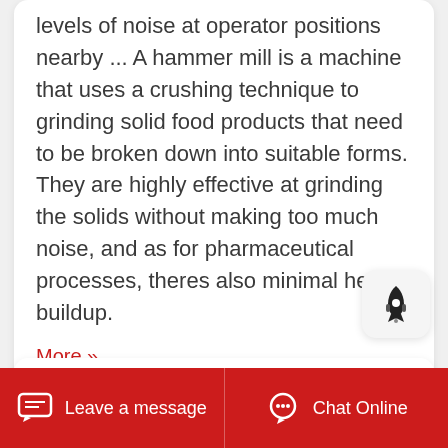levels of noise at operator positions nearby ... A hammer mill is a machine that uses a crushing technique to grinding solid food products that need to be broken down into suitable forms. They are highly effective at grinding the solids without making too much noise, and as for pharmaceutical processes, theres also minimal heat buildup.
More »
Hammer Mill For Silicon
Leave a message   Chat Online